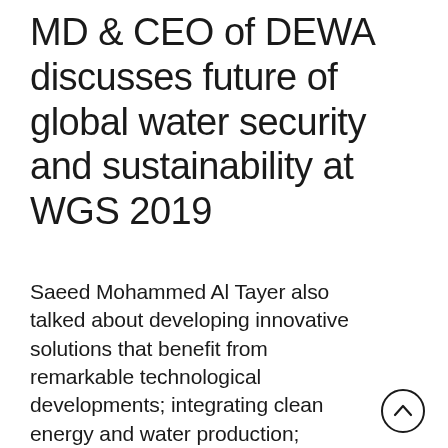MD & CEO of DEWA discusses future of global water security and sustainability at WGS 2019
Saeed Mohammed Al Tayer also talked about developing innovative solutions that benefit from remarkable technological developments; integrating clean energy and water production; rationalising consumption to conserve resources; and engaging the private sector in developing innovations improve both the water supply and the